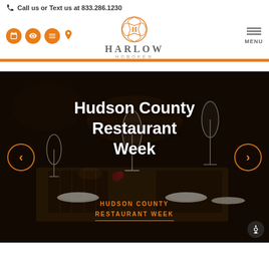Call us or Text us at 833.286.1230
[Figure (logo): Harlow Hoboken ornate H logo in orange with HARLOW HOBOKEN text]
[Figure (screenshot): Hero image of restaurant dining room with dark moody lighting, wine glasses, table settings]
Hudson County Restaurant Week
HUDSON COUNTY RESTAURANT WEEK